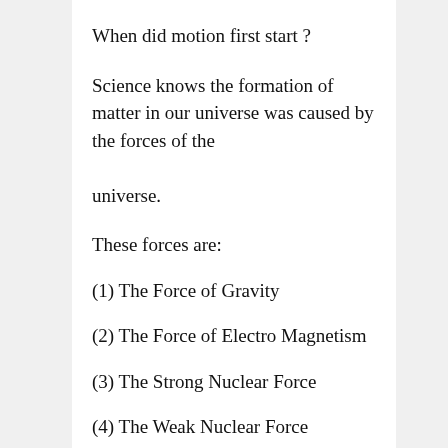When did motion first start ?
Science knows the formation of matter in our universe was caused by the forces of the universe.
These forces are:
(1) The Force of Gravity
(2) The Force of Electro Magnetism
(3) The Strong Nuclear Force
(4) The Weak Nuclear Force
At some point in time, motion within the